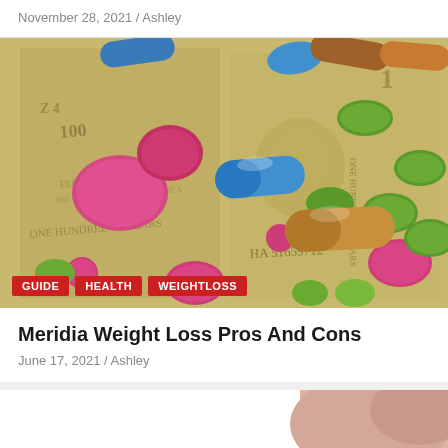November 28, 2021 / Ashley
[Figure (photo): Colorful pills and capsules scattered on US dollar bills — pink, green, blue, orange/tan capsules with red, green small coated tablets on currency background. Tags: GUIDE, HEALTH, WEIGHTLOSS]
Meridia Weight Loss Pros And Cons
June 17, 2021 / Ashley
[Figure (photo): Partial bottom card showing what appears to be a person's skin/face on the right side, white background on left]